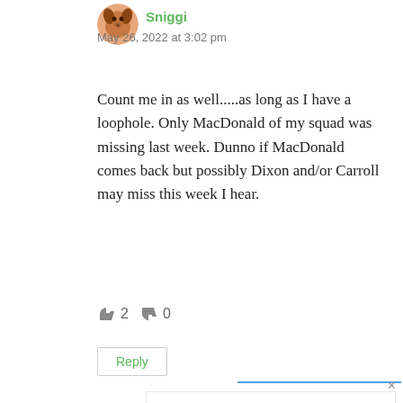[Figure (illustration): Circular avatar icon showing a cartoon dog character with orange/brown coloring]
Sniggi
May 26, 2022 at 3:02 pm
Count me in as well.....as long as I have a loophole. Only MacDonald of my squad was missing last week. Dunno if MacDonald comes back but possibly Dixon and/or Carroll may miss this week I hear.
👍 2  👎 0
Reply
[Figure (screenshot): Advertisement for Loyal Companion pet health and wellness products, showing the Loyal Companion logo and a blue diamond arrow icon]